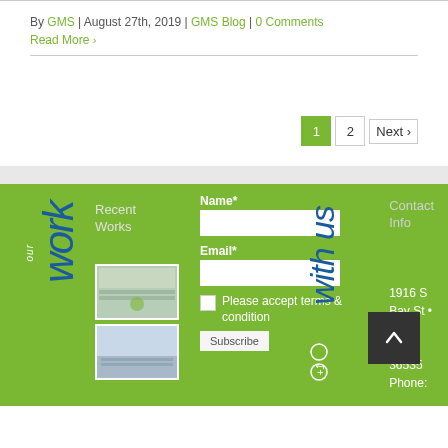By GMS | August 27th, 2019 | GMS Blog | 0 Comments
Read More ›
1 2 Next ›
our work
Recent Works
[Figure (screenshot): Thumbnail image 1 in recent works section]
[Figure (screenshot): Thumbnail image 2 in recent works section]
Name*
Email*
Please accept terms & condition
Subscribe
connect with us
Contact Info
1916 S Bay St • Foley, AL 36535 Phone: